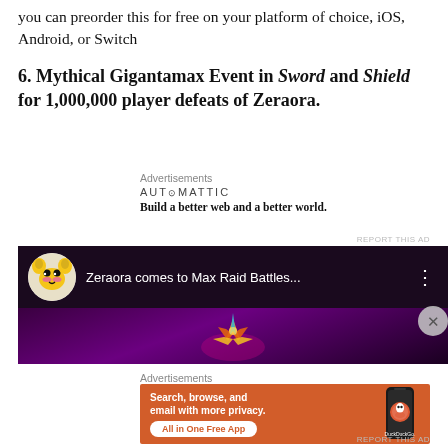you can preorder this for free on your platform of choice, iOS, Android, or Switch
6. Mythical Gigantamax Event in Sword and Shield for 1,000,000 player defeats of Zeraora.
Advertisements
[Figure (infographic): Automattic advertisement: logo and tagline 'Build a better web and a better world.']
REPORT THIS AD
[Figure (screenshot): YouTube video thumbnail showing 'Zeraora comes to Max Raid Battles...' with a Pikachu channel icon and dark purple background with glowing figure]
Advertisements
[Figure (infographic): DuckDuckGo advertisement: 'Search, browse, and email with more privacy. All in One Free App' with phone mockup and DuckDuckGo logo]
REPORT THIS AD